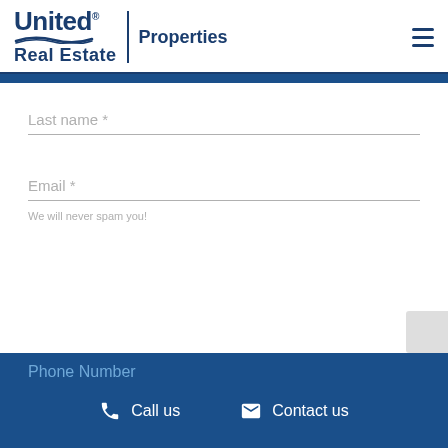[Figure (logo): United Real Estate Properties logo with wavy underline and vertical divider]
Last name *
Email *
We will never spam you!
Phone Number
Call us
Contact us